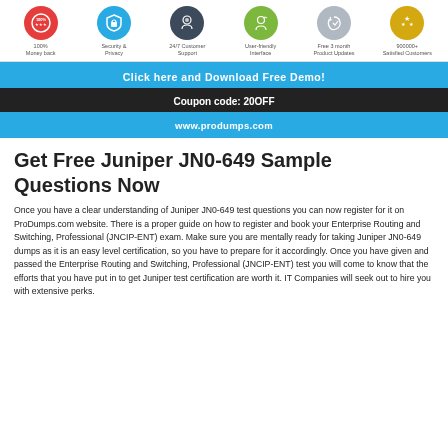[Figure (infographic): Six feature icons in circles: 100% Money back (red), Security & Privacy (blue), 24/7 Customer Support (dark), User-friendly Interface (green), Free 3 month Product Updates (light gray), 900000+ Satisfied Customers (yellow/gold)]
Click here and Download Free Demo!
Coupon code: 20OFF
www.produmps.com
Get Free Juniper JN0-649 Sample Questions Now
Once you have a clear understanding of Juniper JN0-649 test questions you can now register for it on ProDumps.com website. There is a proper guide on how to register and book your Enterprise Routing and Switching, Professional (JNCIP-ENT) exam. Make sure you are mentally ready for taking Juniper JN0-649 dumps as it is an easy level certification, so you have to prepare for it accordingly. Once you have given and passed the Enterprise Routing and Switching, Professional (JNCIP-ENT) test you will come to know that the efforts that you have put in to get Juniper test certification are worth it. IT Companies will seek out to hire you with extensive perks.